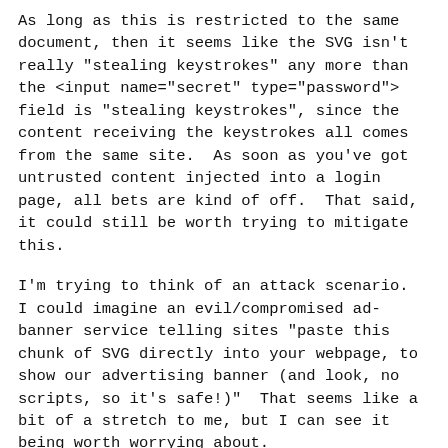As long as this is restricted to the same document, then it seems like the SVG isn't really "stealing keystrokes" any more than the <input name="secret" type="password"> field is "stealing keystrokes", since the content receiving the keystrokes all comes from the same site.  As soon as you've got untrusted content injected into a login page, all bets are kind of off.  That said, it could still be worth trying to mitigate this.
I'm trying to think of an attack scenario.  I could imagine an evil/compromised ad-banner service telling sites "paste this chunk of SVG directly into your webpage, to show our advertising banner (and look, no scripts, so it's safe!)"  That seems like a bit of a stretch to me, but I can see it being worth worrying about.
Elsewhere, I recalled that this...